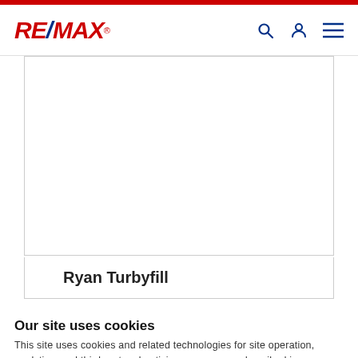RE/MAX
[Figure (photo): Empty white content box with border]
Ryan Turbyfill
Our site uses cookies
This site uses cookies and related technologies for site operation, analytics, and third party advertising purposes as described in our Privacy Notice .
ACCEPT